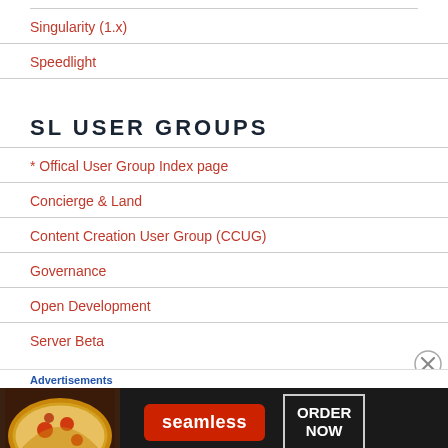Singularity (1.x)
Speedlight
SL USER GROUPS
* Offical User Group Index page
Concierge & Land
Content Creation User Group (CCUG)
Governance
Open Development
Server Beta
[Figure (other): Seamless food delivery advertisement banner with pizza image, Seamless logo, and ORDER NOW button]
Advertisements